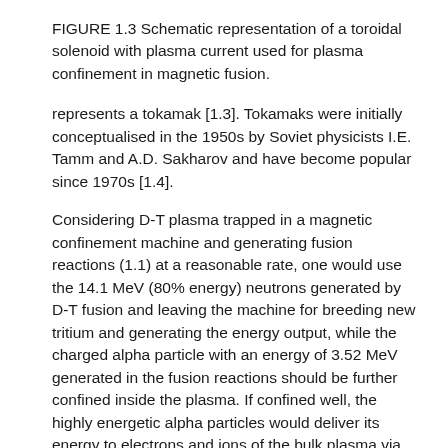FIGURE 1.3 Schematic representation of a toroidal solenoid with plasma current used for plasma confinement in magnetic fusion.
represents a tokamak [1.3]. Tokamaks were initially conceptualised in the 1950s by Soviet physicists I.E. Tamm and A.D. Sakharov and have become popular since 1970s [1.4].
Considering D-T plasma trapped in a magnetic confinement machine and generating fusion reactions (1.1) at a reasonable rate, one would use the 14.1 MeV (80% energy) neutrons generated by D-T fusion and leaving the machine for breeding new tritium and generating the energy output, while the charged alpha particle with an energy of 3.52 MeV generated in the fusion reactions should be further confined inside the plasma. If confined well, the highly energetic alpha particles would deliver its energy to electrons and ions of the bulk plasma via Coulomb collisions. This heat